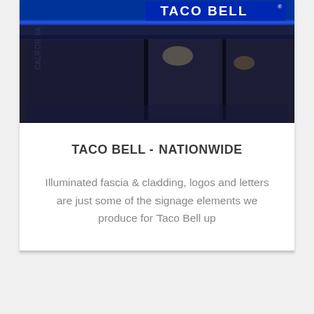[Figure (photo): Taco Bell restaurant storefront at night with illuminated blue LED signage showing 'TACO BELL' letters and lit interior]
TACO BELL - NATIONWIDE
Illuminated fascia & cladding, logos and letters are just some of the signage elements we produce for Taco Bell up